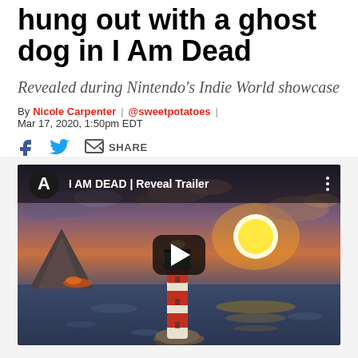hung out with a ghost dog in I Am Dead
Revealed during Nintendo's Indie World showcase
By Nicole Carpenter | @sweetpotatoes | Mar 17, 2020, 1:50pm EDT
[Figure (screenshot): YouTube video embed thumbnail showing 'I AM DEAD | Reveal Trailer' with a stylized illustration of a red-and-white lighthouse at sunset with a volcanic island in the background and a play button overlay]
I AM DEAD | Reveal Trailer